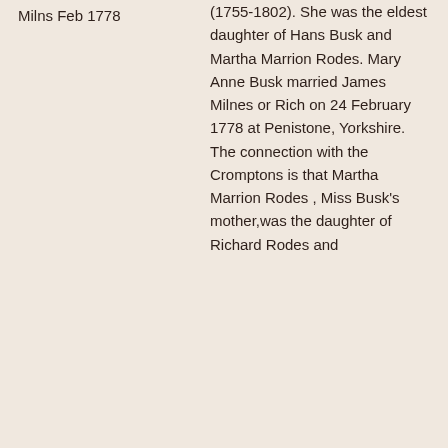Milns Feb 1778
(1755-1802). She was the eldest daughter of Hans Busk and Martha Marrion Rodes. Mary Anne Busk married James Milnes or Rich on 24 February 1778 at Penistone, Yorkshire.  The connection with the Cromptons is that Martha Marrion Rodes , Miss Busk's mother,was the daughter of Richard Rodes and